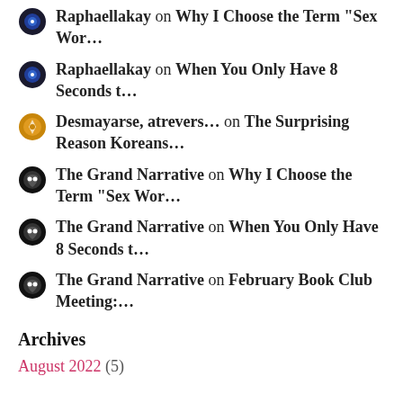Raphaellakay on Why I Choose the Term “Sex Wor…
Raphaellakay on When You Only Have 8 Seconds t…
Desmayarse, atrevers… on The Surprising Reason Koreans…
The Grand Narrative on Why I Choose the Term “Sex Wor…
The Grand Narrative on When You Only Have 8 Seconds t…
The Grand Narrative on February Book Club Meeting:…
Archives
August 2022 (5)